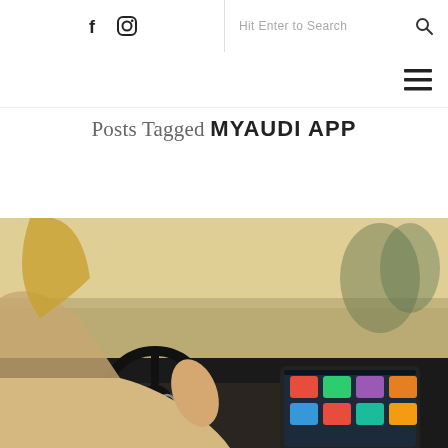f  [Instagram icon]  |  Hit Enter to Search  [Search icon]
[Hamburger menu icon]
Posts Tagged MYAUDI APP
[Figure (photo): Woman driving an Audi car, hand on steering wheel with Audi logo visible. Infotainment touchscreen in dashboard showing app icons. Road visible through windshield.]